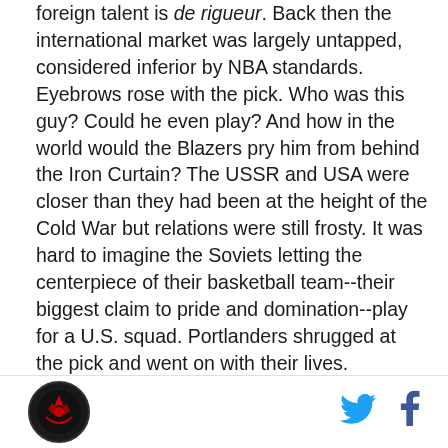foreign talent is de rigueur. Back then the international market was largely untapped, considered inferior by NBA standards. Eyebrows rose with the pick. Who was this guy? Could he even play? And how in the world would the Blazers pry him from behind the Iron Curtain? The USSR and USA were closer than they had been at the height of the Cold War but relations were still frosty. It was hard to imagine the Soviets letting the centerpiece of their basketball team--their biggest claim to pride and domination--play for a U.S. squad. Portlanders shrugged at the pick and went on with their lives.

Two events would turn those shrugs into blintz-eating grins.
[Figure (logo): Circular dark logo with a stylized design, bottom left footer]